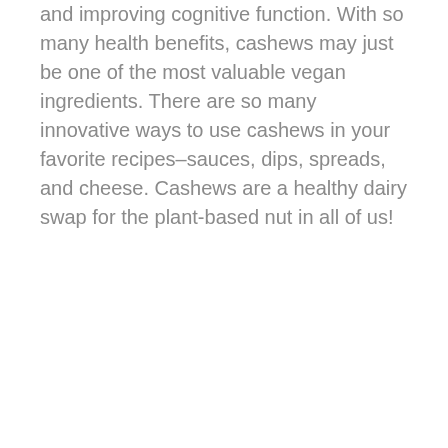and improving cognitive function. With so many health benefits, cashews may just be one of the most valuable vegan ingredients. There are so many innovative ways to use cashews in your favorite recipes–sauces, dips, spreads, and cheese. Cashews are a healthy dairy swap for the plant-based nut in all of us!